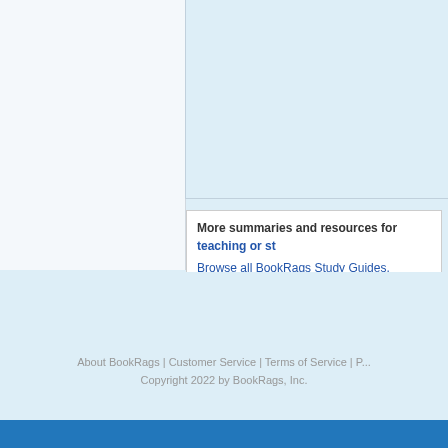More summaries and resources for teaching or st...
Browse all BookRags Study Guides.
Copyrights
[Figure (logo): Project Gutenberg logo in gothic/blackletter font on beige background]
Backlog Studies from P...
About BookRags | Customer Service | Terms of Service | P... Copyright 2022 by BookRags, Inc.